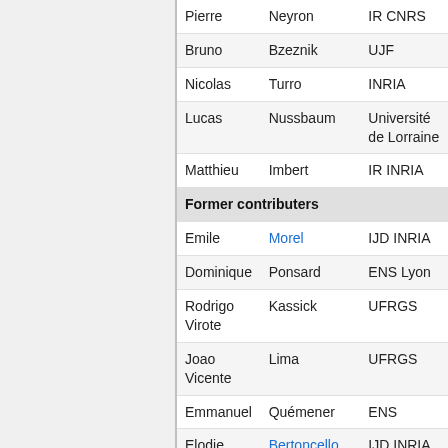| First Name | Last Name | Affiliation |
| --- | --- | --- |
| Pierre | Neyron | IR CNRS |
| Bruno | Bzeznik | UJF |
| Nicolas | Turro | INRIA |
| Lucas | Nussbaum | Université de Lorraine |
| Matthieu | Imbert | IR INRIA |
| Former contributers |  |  |
| Emile | Morel | IJD INRIA |
| Dominique | Ponsard | ENS Lyon |
| Rodrigo Virote | Kassick | UFRGS |
| Joao Vicente | Lima | UFRGS |
| Emmanuel | Quémener | ENS |
| Elodie | Bertoncello | IJD INRIA |
| Vidal | Chancel Watat Yomba | IJD INRIA |
| Romain | Cavagna | IJD INRIA |